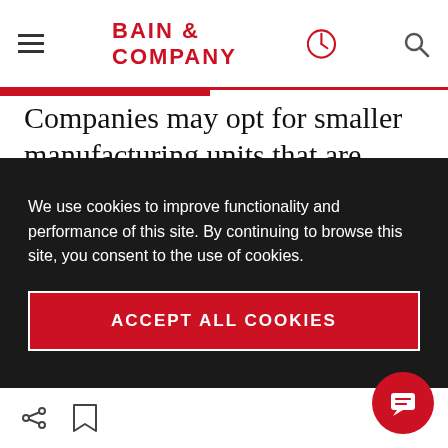BAIN & COMPANY
Companies may opt for smaller manufacturing units that are closer to the customer, so they can tailor products more quickly to evolving local tastes. Alternatively, they may outsource the final production of goods to neighborhood 3-D printers. Today retail stores and restaurants require significant scale to be economically
We use cookies to improve functionality and performance of this site. By continuing to browse this site, you consent to the use of cookies.
ACCEPT ALL COOKIES